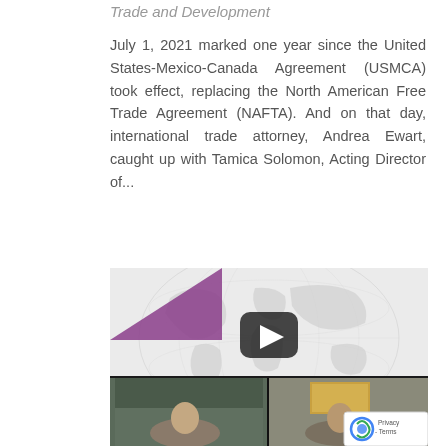Trade and Development
July 1, 2021 marked one year since the United States-Mexico-Canada Agreement (USMCA) took effect, replacing the North American Free Trade Agreement (NAFTA). And on that day, international trade attorney, Andrea Ewart, caught up with Tamica Solomon, Acting Director of...
[Figure (screenshot): Video thumbnail showing a globe background with a purple triangle graphic in the upper left, a YouTube-style play button in the center, and below it a split-screen video still showing two men in conversation on a video call.]